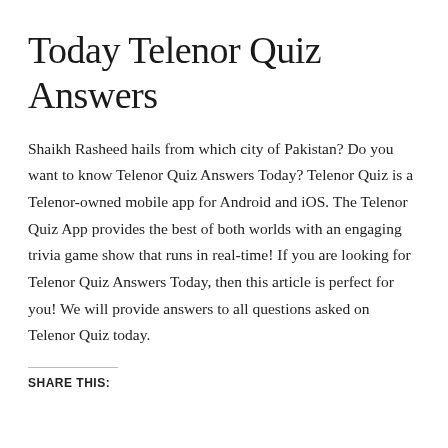Today Telenor Quiz Answers
Shaikh Rasheed hails from which city of Pakistan? Do you want to know Telenor Quiz Answers Today? Telenor Quiz is a Telenor-owned mobile app for Android and iOS. The Telenor Quiz App provides the best of both worlds with an engaging trivia game show that runs in real-time! If you are looking for Telenor Quiz Answers Today, then this article is perfect for you! We will provide answers to all questions asked on Telenor Quiz today.
SHARE THIS: